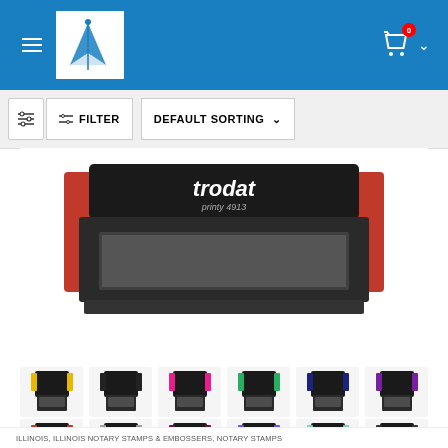[Figure (screenshot): Website header with blue background, pen/quill logo in white box, hamburger menu icon, and shopping cart icon with 0 badge and dropdown chevron]
[Figure (screenshot): Filter bar with filter toggle icon, FILTER button and DEFAULT SORTING dropdown button on light gray background]
[Figure (photo): Large Trodat brand self-inking stamp in black and red color, showing the stamp mechanism from the front]
[Figure (photo): Color swatches row 1: yellow, black, pink, green, navy, purple self-inking stamps (smaller product thumbnails)]
[Figure (photo): Color swatches row 2: red, gray, purple/maroon, violet, teal/mint, black self-inking stamps (smaller product thumbnails)]
ILLINOIS, ILLINOIS NOTARY STAMPS & EMBOSSERS, NOTARY STAMPS